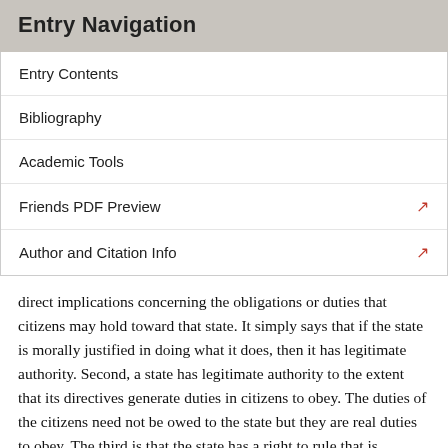Entry Navigation
Entry Contents
Bibliography
Academic Tools
Friends PDF Preview
Author and Citation Info
direct implications concerning the obligations or duties that citizens may hold toward that state. It simply says that if the state is morally justified in doing what it does, then it has legitimate authority. Second, a state has legitimate authority to the extent that its directives generate duties in citizens to obey. The duties of the citizens need not be owed to the state but they are real duties to obey. The third is that the state has a right to rule that is correlated with the citizens’ duty to it to obey it. This is the strongest notion of authority and it seems to be the core idea behind the legitimacy of the state. The idea